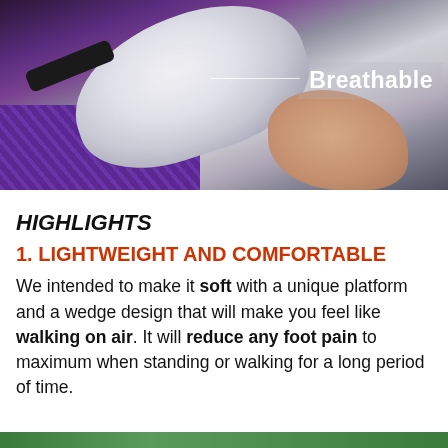[Figure (photo): Close-up photo of athletic/walking shoes with purple mesh fabric, black strap, white sole being held by a hand. A label 'Breathable' appears in the upper right corner of the image.]
HIGHLIGHTS
1. LIGHTWEIGHT AND COMFORTABLE
We intended to make it soft with a unique platform and a wedge design that will make you feel like walking on air. It will reduce any foot pain to maximum when standing or walking for a long period of time.